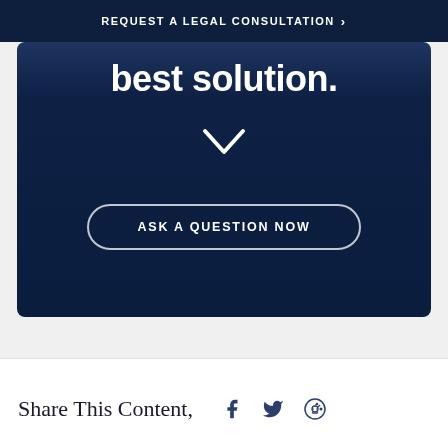REQUEST A LEGAL CONSULTATION ›
best solution.
[Figure (other): Chevron / down arrow icon in white]
ASK A QUESTION NOW
Share This Content,